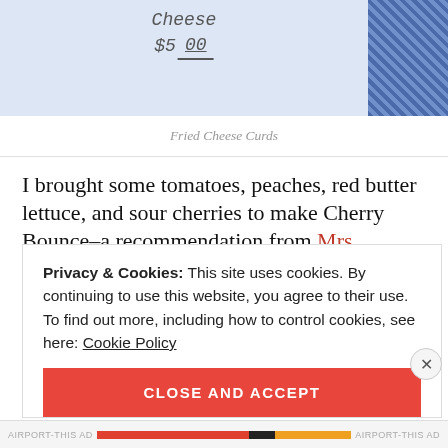[Figure (photo): Photo of a handwritten price tag reading $5.00 on a white paper, set on a blue checkered tablecloth background. A portion of blue patterned fabric is visible on the right side.]
Fried Cheese Curds
I brought some tomatoes, peaches, red butter lettuce, and sour cherries to make Cherry Bounce–a recommendation from Mrs. Wheelbarrow who is canner extraordinaire & cocktail connoisseur. I also got
Privacy & Cookies: This site uses cookies. By continuing to use this website, you agree to their use.
To find out more, including how to control cookies, see here: Cookie Policy
CLOSE AND ACCEPT